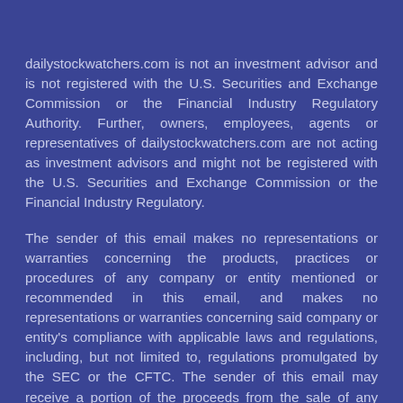dailystockwatchers.com is not an investment advisor and is not registered with the U.S. Securities and Exchange Commission or the Financial Industry Regulatory Authority. Further, owners, employees, agents or representatives of dailystockwatchers.com are not acting as investment advisors and might not be registered with the U.S. Securities and Exchange Commission or the Financial Industry Regulatory.
The sender of this email makes no representations or warranties concerning the products, practices or procedures of any company or entity mentioned or recommended in this email, and makes no representations or warranties concerning said company or entity's compliance with applicable laws and regulations, including, but not limited to, regulations promulgated by the SEC or the CFTC. The sender of this email may receive a portion of the proceeds from the sale of any products or services offered by a company or entity mentioned or recommended in this email. The recipient of this email assumes responsibility for conducting its own due diligence on the aforementioned company or entity and assumes full